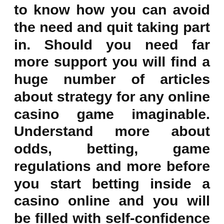to know how you can avoid the need and quit taking part in. Should you need far more support you will find a huge number of articles about strategy for any online casino game imaginable. Understand more about odds, betting, game regulations and more before you start betting inside a casino online and you will be filled with self-confidence and ready to acquire!
As soon as you how to earn you are prepared to start out enjoying. Starting to play online casino games is